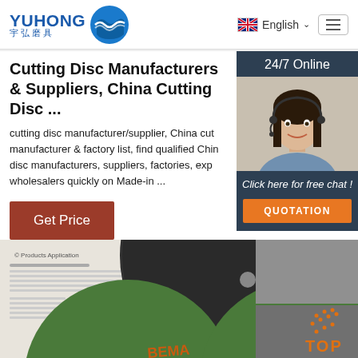[Figure (logo): Yuhong logo with blue wave icon and Chinese text 宇弘磨具]
English
Cutting Disc Manufacturers & Suppliers, China Cutting Disc ...
cutting disc manufacturer/supplier, China cutting disc manufacturer & factory list, find qualified China cutting disc manufacturers, suppliers, factories, exporters & wholesalers quickly on Made-in ...
Get Price
[Figure (photo): 24/7 Online chat widget with photo of female customer service representative wearing headset, dark background with Click here for free chat and QUOTATION button]
[Figure (photo): Product image showing cutting discs — black and green abrasive cutting wheels with TOP badge]